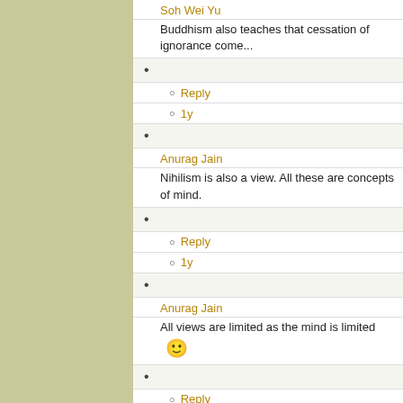Soh Wei Yu
Buddhism also teaches that cessation of ignorance come...
Reply
1y
Anurag Jain
Nihilism is also a view. All these are concepts of mind.
Reply
1y
Anurag Jain
All views are limited as the mind is limited 🙂
Reply
1y
Soh Wei Yu
Brahman is a view. It is a wrong view.
Actually Buddhism does not teach "no view", it teaches to... and non-existence or substantiality.
As John Tan said years ago, "I am not into no view"... but